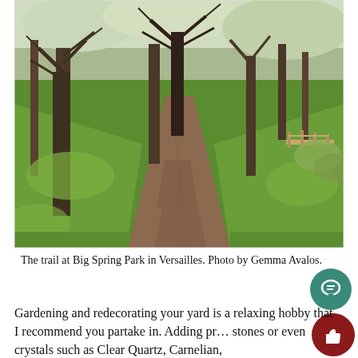[Figure (photo): A dirt trail winding through a park with bare trees and bright green grass on both sides. A small wooden bridge is visible in the background on the right. Sunlight casts shadows across the path.]
The trail at Big Spring Park in Versailles. Photo by Gemma Avalos.
Gardening and redecorating your yard is a relaxing hobby that I recommend you partake in. Adding precious stones or even crystals such as Clear Quartz, Carnelian,